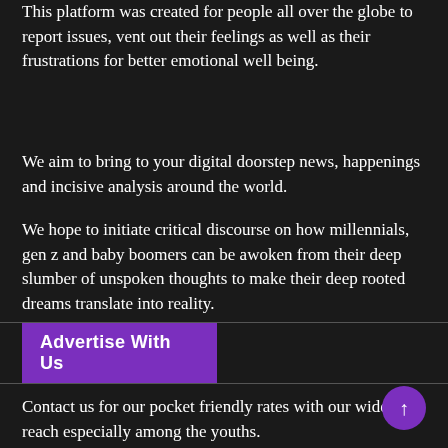This platform was created for people all over the globe to report issues, vent out their feelings as well as their frustrations for better emotional well being.
We aim to bring to your digital doorstep news, happenings and incisive analysis around the world.
We hope to initiate critical discourse on how millennials, gen z and baby boomers can be awoken from their deep slumber of unspoken thoughts to make their deep rooted dreams translate into reality.
Advertise With Us
Contact us for our pocket friendly rates with our wide reach especially among the youths.